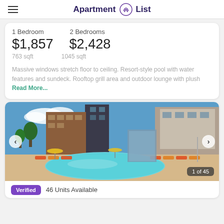Apartment List
1 Bedroom
$1,857
763 sqft
2 Bedrooms
$2,428
1045 sqft
Massive windows stretch floor to ceiling. Resort-style pool with water features and sundeck. Rooftop grill area and outdoor lounge with plush Read More...
[Figure (photo): Apartment complex pool area with lounge chairs, umbrellas, and modern multi-story building in background. Blue sky with clouds.]
1 of 45
Verified   46 Units Available